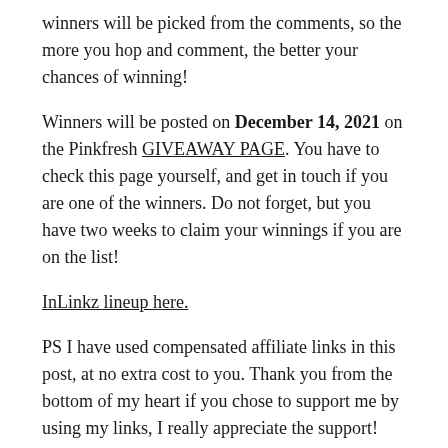winners will be picked from the comments, so the more you hop and comment, the better your chances of winning!
Winners will be posted on December 14, 2021 on the Pinkfresh GIVEAWAY PAGE. You have to check this page yourself, and get in touch if you are one of the winners. Do not forget, but you have two weeks to claim your winnings if you are on the list!
InLinkz lineup here.
PS I have used compensated affiliate links in this post, at no extra cost to you. Thank you from the bottom of my heart if you chose to support me by using my links, I really appreciate the support!
As mentioned, there is also a YouTube video for the release and all the projects I made. You can CLICK